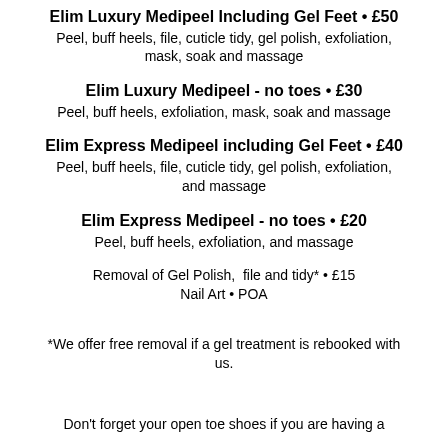Elim Luxury Medipeel Including Gel Feet • £50
Peel, buff heels, file, cuticle tidy, gel polish, exfoliation, mask, soak and massage
Elim Luxury Medipeel - no toes • £30
Peel, buff heels, exfoliation, mask, soak and massage
Elim Express Medipeel including Gel Feet • £40
Peel, buff heels, file, cuticle tidy, gel polish, exfoliation, and massage
Elim Express Medipeel - no toes • £20
Peel, buff heels, exfoliation, and massage
Removal of Gel Polish, file and tidy* • £15
Nail Art • POA
*We offer free removal if a gel treatment is rebooked with us.
Don't forget your open toe shoes if you are having a